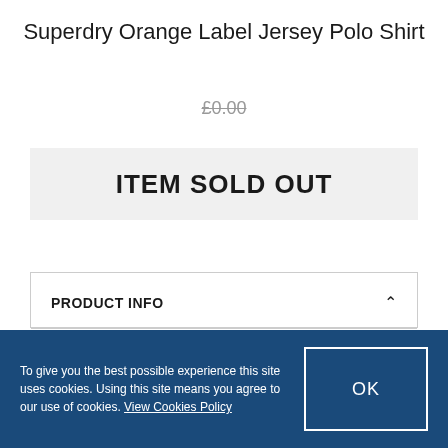Superdry Orange Label Jersey Polo Shirt
£0.00
ITEM SOLD OUT
PRODUCT INFO
Superdry men's jersey polo shirt from the Orange Label range. This lightweight, cotton
To give you the best possible experience this site uses cookies. Using this site means you agree to our use of cookies. View Cookies Policy